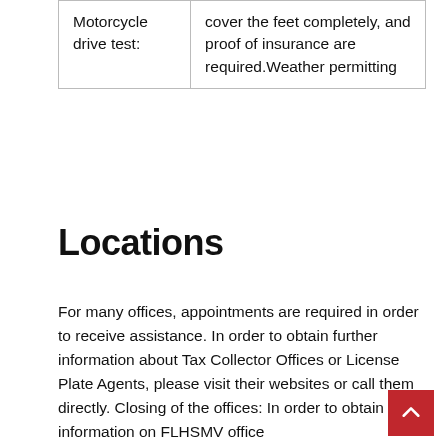| Motorcycle drive test: | cover the feet completely, and proof of insurance are required.Weather permitting |
Locations
For many offices, appointments are required in order to receive assistance. In order to obtain further information about Tax Collector Offices or License Plate Agents, please visit their websites or call them directly. Closing of the offices: In order to obtain information on FLHSMV office